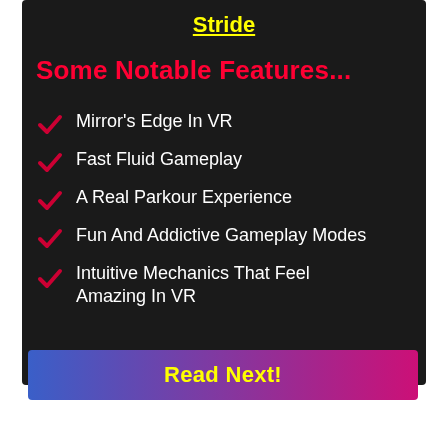Stride
Some Notable Features...
Mirror's Edge In VR
Fast Fluid Gameplay
A Real Parkour Experience
Fun And Addictive Gameplay Modes
Intuitive Mechanics That Feel Amazing In VR
Read Next!